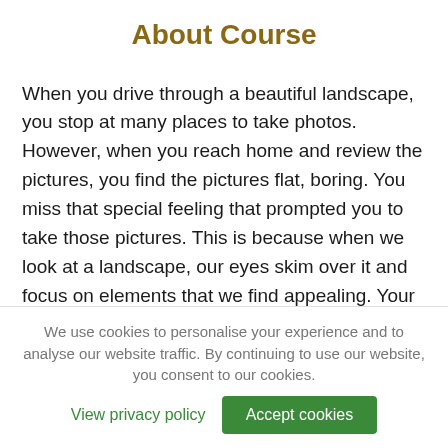About Course
When you drive through a beautiful landscape, you stop at many places to take photos. However, when you reach home and review the pictures, you find the pictures flat, boring. You miss that special feeling that prompted you to take those pictures. This is because when we look at a landscape, our eyes skim over it and focus on elements that we find appealing. Your camera or the lenses in your camera do not have this selection process. This is where landscape photography comes
We use cookies to personalise your experience and to analyse our website traffic. By continuing to use our website, you consent to our cookies.
View privacy policy   Accept cookies